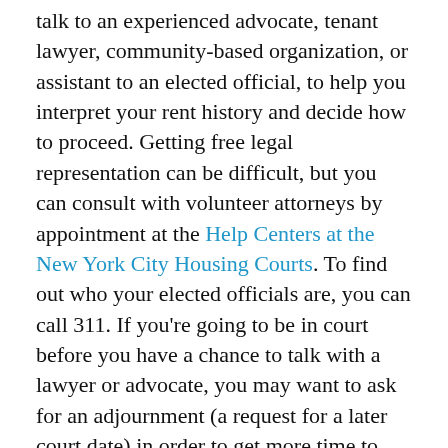talk to an experienced advocate, tenant lawyer, community-based organization, or assistant to an elected official, to help you interpret your rent history and decide how to proceed. Getting free legal representation can be difficult, but you can consult with volunteer attorneys by appointment at the Help Centers at the New York City Housing Courts. To find out who your elected officials are, you can call 311. If you're going to be in court before you have a chance to talk with a lawyer or advocate, you may want to ask for an adjournment (a request for a later court date) in order to get more time to look into the matter.
If you believe that you are being overcharged, your two options for seeking a rent-adjustment and a refund are:
file a rent overcharge complaint with the DHCR by filing a form RA-89 (call 833-499-0343 to